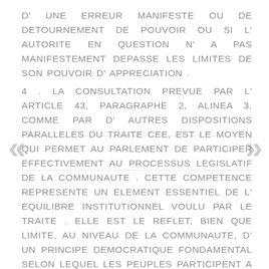D' UNE ERREUR MANIFESTE OU DE DETOURNEMENT DE POUVOIR OU SI L' AUTORITE EN QUESTION N' A PAS MANIFESTEMENT DEPASSE LES LIMITES DE SON POUVOIR D' APPRECIATION .
4 . LA CONSULTATION PREVUE PAR L' ARTICLE 43, PARAGRAPHE 2, ALINEA 3, COMME PAR D' AUTRES DISPOSITIONS PARALLELES DU TRAITE CEE, EST LE MOYEN QUI PERMET AU PARLEMENT DE PARTICIPER EFFECTIVEMENT AU PROCESSUS LEGISLATIF DE LA COMMUNAUTE . CETTE COMPETENCE REPRESENTE UN ELEMENT ESSENTIEL DE L' EQUILIBRE INSTITUTIONNEL VOULU PAR LE TRAITE . ELLE EST LE REFLET, BIEN QUE LIMITE, AU NIVEAU DE LA COMMUNAUTE, D' UN PRINCIPE DEMOCRATIQUE FONDAMENTAL SELON LEQUEL LES PEUPLES PARTICIPENT A L' EXERCICE DU POUVOIR PAR L'